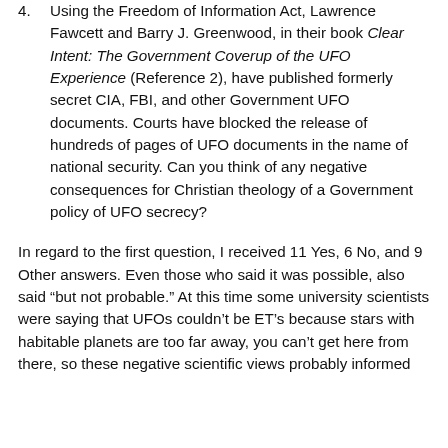4. Using the Freedom of Information Act, Lawrence Fawcett and Barry J. Greenwood, in their book Clear Intent: The Government Coverup of the UFO Experience (Reference 2), have published formerly secret CIA, FBI, and other Government UFO documents. Courts have blocked the release of hundreds of pages of UFO documents in the name of national security. Can you think of any negative consequences for Christian theology of a Government policy of UFO secrecy?
In regard to the first question, I received 11 Yes, 6 No, and 9 Other answers. Even those who said it was possible, also said “but not probable.” At this time some university scientists were saying that UFOs couldn’t be ET’s because stars with habitable planets are too far away, you can’t get here from there, so these negative scientific views probably informed